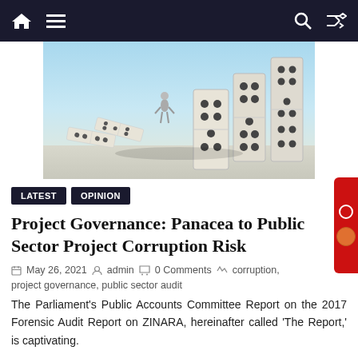Navigation bar with home, menu, search, and shuffle icons
[Figure (illustration): 3D render of domino tiles falling in sequence with a small human figure standing in front of them, light blue sky background]
LATEST   OPINION
Project Governance: Panacea to Public Sector Project Corruption Risk
May 26, 2021   admin   0 Comments   corruption, project governance, public sector audit
The Parliament's Public Accounts Committee Report on the 2017 Forensic Audit Report on ZINARA, hereinafter called 'The Report,' is captivating.